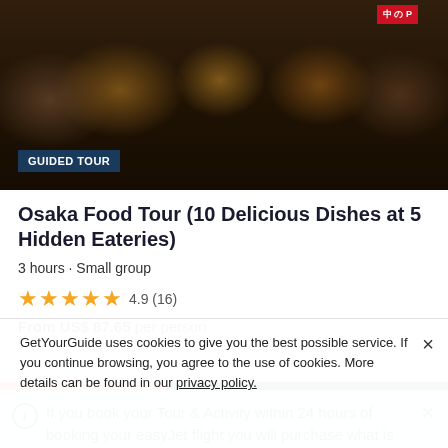[Figure (photo): Group of people toasting beer mugs at a Japanese restaurant/bar, with Japanese signs in background]
GUIDED TOUR
Osaka Food Tour (10 Delicious Dishes at 5 Hidden Eateries)
3 hours • Small group
★★★★★ 4.9 (16)
From US$ 87.65 per person
ⓘ  If you book your Tour & Activity within 24 hours of booking your easyJet flight you will purchase what is known as a Linked Travel Arrangement. This means
GetYourGuide uses cookies to give you the best possible service. If you continue browsing, you agree to the use of cookies. More details can be found in our privacy policy.